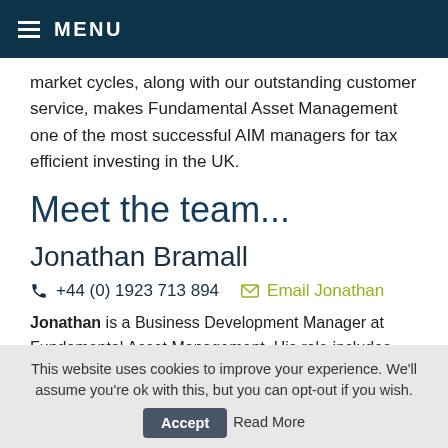MENU
market cycles, along with our outstanding customer service, makes Fundamental Asset Management one of the most successful AIM managers for tax efficient investing in the UK.
Meet the team...
Jonathan Bramall
+44 (0) 1923 713 894   Email Jonathan
Jonathan is a Business Development Manager at Fundamental Asset Management. His role includes assisting clients and intermediaries. Jonathan has over 12 years'
This website uses cookies to improve your experience. We'll assume you're ok with this, but you can opt-out if you wish. Accept Read More